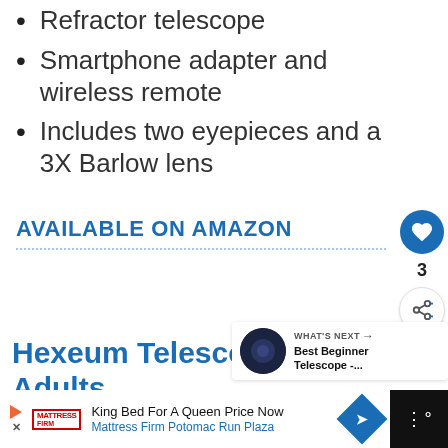Refractor telescope
Smartphone adapter and wireless remote
Includes two eyepieces and a 3X Barlow lens
AVAILABLE ON AMAZON
Hexeum Telescope for Kids Adults
[Figure (screenshot): Social media like button (heart icon, blue circle) with count of 3 and share button below]
[Figure (screenshot): What's Next panel showing a dark circular thumbnail and text: Best Beginner Telescope -...]
King Bed For A Queen Price Now Mattress Firm Potomac Run Plaza